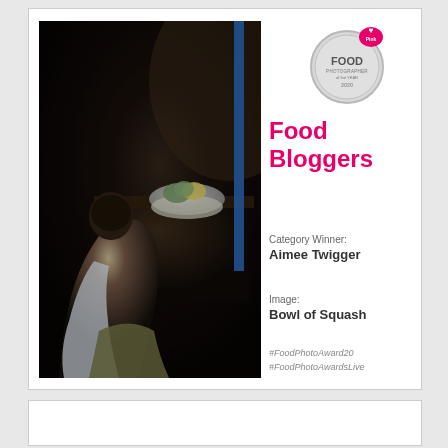[Figure (photo): Dark atmospheric photo of a woman sitting with her back to the camera at a wooden table with a bowl of squash/gourds on it, shot in a moody, low-light style reminiscent of old master paintings. A blue vertical stripe element is visible on the right side of the photo.]
[Figure (logo): Pink Lady Food Photographer of the Year circular logo with pink heart badge at top]
Food Bloggers
Category Winner:
Aimee Twigger
Image:
Bowl of Squash
#FoodPhotoAward20
#FoodPhotoAwardsLive